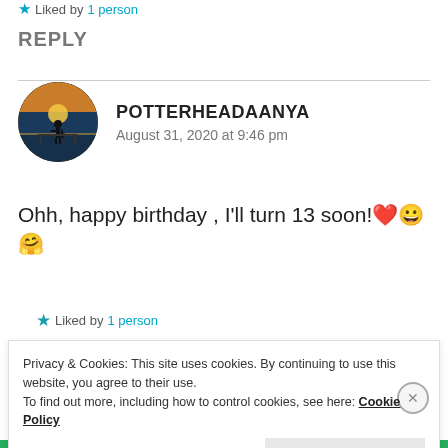Liked by 1 person
REPLY
[Figure (photo): Circular avatar photo of a person silhouette against a sunset/sunrise background over water]
POTTERHEADAANYA
August 31, 2020 at 9:46 pm
Ohh, happy birthday , I'll turn 13 soon! ❤️😀 🤗
Liked by 1 person
Privacy & Cookies: This site uses cookies. By continuing to use this website, you agree to their use.
To find out more, including how to control cookies, see here: Cookie Policy
Close and accept